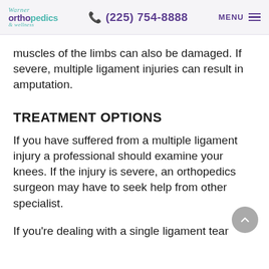Warner Orthopedics & Wellness | (225) 754-8888 | MENU
muscles of the limbs can also be damaged. If severe, multiple ligament injuries can result in amputation.
TREATMENT OPTIONS
If you have suffered from a multiple ligament injury a professional should examine your knees. If the injury is severe, an orthopedics surgeon may have to seek help from other specialist.
If you're dealing with a single ligament tear